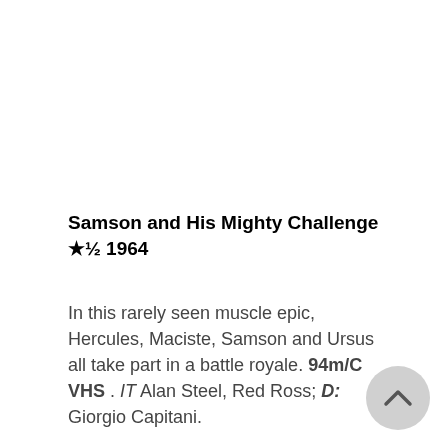Samson and His Mighty Challenge ★½ 1964
In this rarely seen muscle epic, Hercules, Maciste, Samson and Ursus all take part in a battle royale. 94m/C VHS . IT Alan Steel, Red Ross; D: Giorgio Capitani.